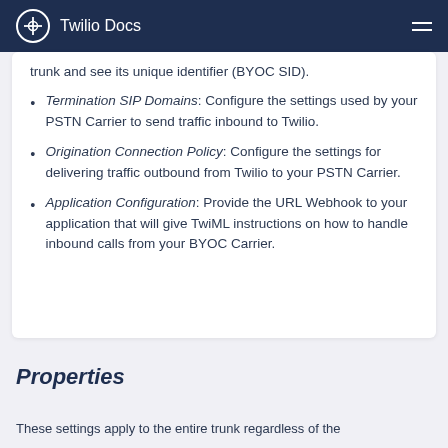Twilio Docs
trunk and see its unique identifier (BYOC SID).
Termination SIP Domains: Configure the settings used by your PSTN Carrier to send traffic inbound to Twilio.
Origination Connection Policy: Configure the settings for delivering traffic outbound from Twilio to your PSTN Carrier.
Application Configuration: Provide the URL Webhook to your application that will give TwiML instructions on how to handle inbound calls from your BYOC Carrier.
Properties
These settings apply to the entire trunk regardless of the